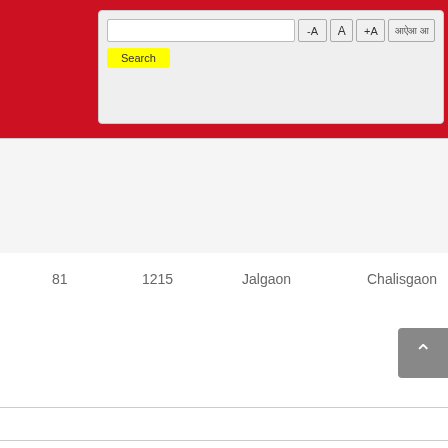[Figure (screenshot): Red header bar with search input, font size buttons (-A, A, +A), Marathi script button, and a yellow Search button]
| 81 | 1215 | Jalgaon | Chalisgaon |